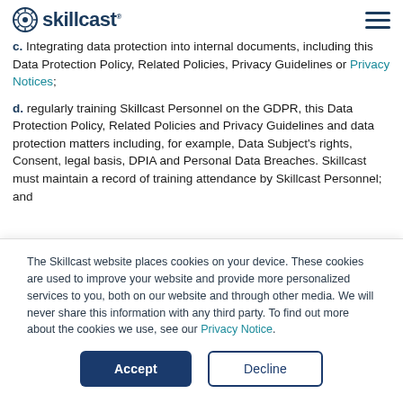Skillcast
c. Integrating data protection into internal documents, including this Data Protection Policy, Related Policies, Privacy Guidelines or Privacy Notices;
d. regularly training Skillcast Personnel on the GDPR, this Data Protection Policy, Related Policies and Privacy Guidelines and data protection matters including, for example, Data Subject's rights, Consent, legal basis, DPIA and Personal Data Breaches. Skillcast must maintain a record of training attendance by Skillcast Personnel; and
The Skillcast website places cookies on your device. These cookies are used to improve your website and provide more personalized services to you, both on our website and through other media. We will never share this information with any third party. To find out more about the cookies we use, see our Privacy Notice.